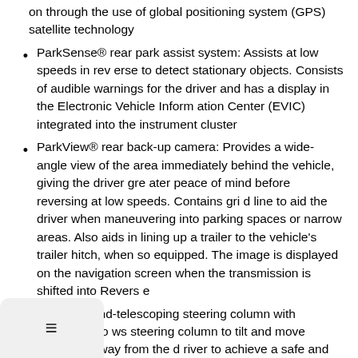on through the use of global positioning system (GPS) satellite technology
ParkSense® rear park assist system: Assists at low speeds in reverse to detect stationary objects. Consists of audible warnings for the driver and has a display in the Electronic Vehicle Information Center (EVIC) integrated into the instrument cluster
ParkView® rear back-up camera: Provides a wide-angle view of the area immediately behind the vehicle, giving the driver greater peace of mind before reversing at low speeds. Contains grid line to aid the driver when maneuvering into parking spaces or narrow areas. Also aids in lining up a trailer to the vehicle's trailer hitch, when so equipped. The image is displayed on the navigation screen when the transmission is shifted into Reverse
Power tilt-and-telescoping steering column with memory: Allows steering column to tilt and move toward or away from the driver to achieve a safe and comfortable distance from the adva